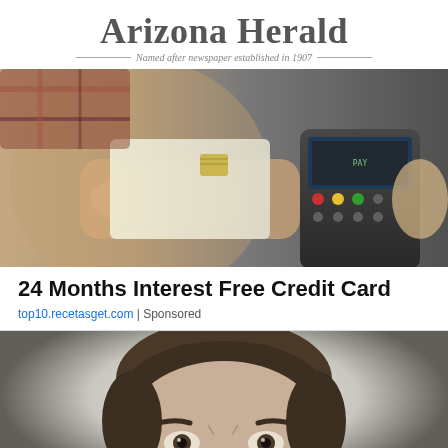Arizona Herald
— Named after newspaper established in 1907 —
[Figure (photo): A hand holding a credit card being inserted into a payment terminal/card reader held by another person]
24 Months Interest Free Credit Card
top10.recetasget.com | Sponsored
[Figure (photo): Close-up of a man's face looking stern or angry, with furrowed brows, staring directly at camera]